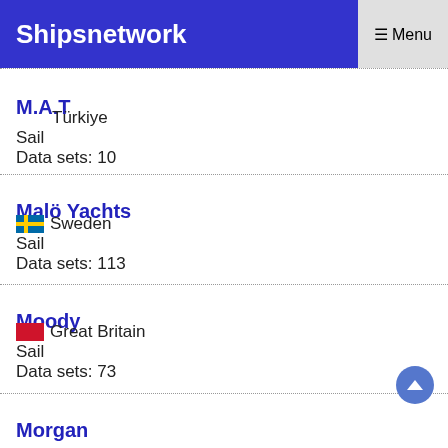Shipsnetwork  ☰ Menu
M.A.T
Türkiye
Sail
Data sets: 10
Malö Yachts
🇸🇪 Sweden
Sail
Data sets: 113
Moody
🇬🇧 Great Britain
Sail
Data sets: 73
Morgan